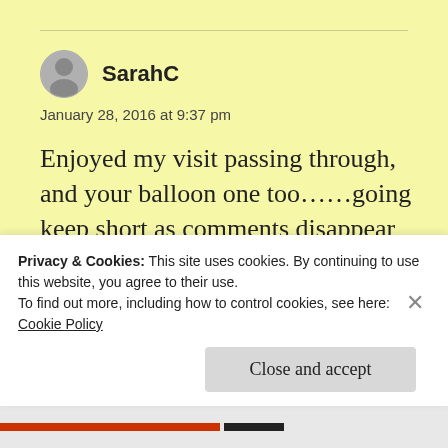SarahC
January 28, 2016 at 9:37 pm
Enjoyed my visit passing through, and your balloon one too……going keep short as comments disappear tapped wrong,best wishes!
Liked by 1 person
Privacy & Cookies: This site uses cookies. By continuing to use this website, you agree to their use.
To find out more, including how to control cookies, see here:
Cookie Policy
Close and accept